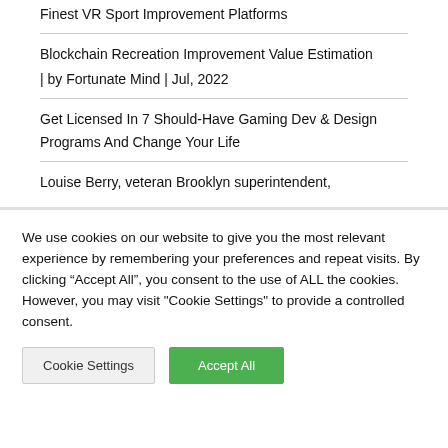Finest VR Sport Improvement Platforms
Blockchain Recreation Improvement Value Estimation | by Fortunate Mind | Jul, 2022
Get Licensed In 7 Should-Have Gaming Dev & Design Programs And Change Your Life
Louise Berry, veteran Brooklyn superintendent,
We use cookies on our website to give you the most relevant experience by remembering your preferences and repeat visits. By clicking “Accept All”, you consent to the use of ALL the cookies. However, you may visit "Cookie Settings" to provide a controlled consent.